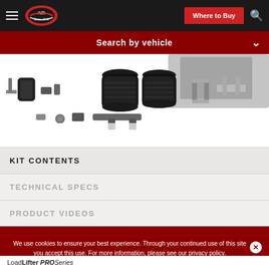Air Lift - Where to Buy | Search
Search by vehicle
[Figure (photo): Exploded product photo showing air lift suspension kit components: air springs, brackets, hardware, and mounting parts on white background]
KIT CONTENTS
TECHNICAL SPECS
PRODUCT VIDEOS
We use cookies to ensure your best experience. Through your continued use of this site you accept this use. For more information, please see our privacy policy.
LoadLifter PROSeries